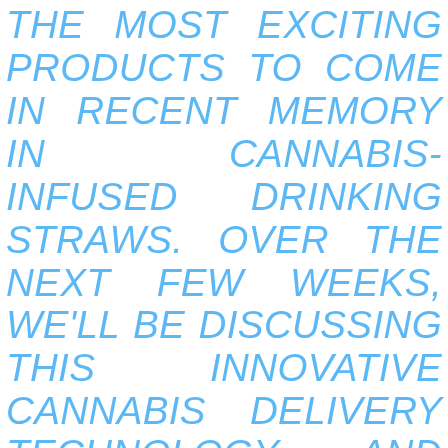THE MOST EXCITING PRODUCTS TO COME IN RECENT MEMORY IN CANNABIS-INFUSED DRINKING STRAWS. OVER THE NEXT FEW WEEKS, WE'LL BE DISCUSSING THIS INNOVATIVE CANNABIS DELIVERY TECHNOLOGY AND THE BRANDS WE'VE SELECTED TO BE THE FIRST TO BRING THIS NEW KIND OF PRODUCT TO CONSUMERS.